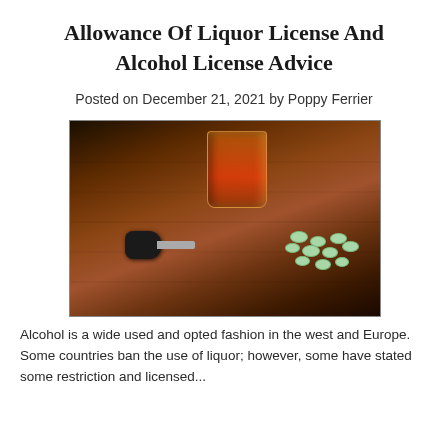Allowance Of Liquor License And Alcohol License Advice
Posted on December 21, 2021 by Poppy Ferrier
[Figure (photo): A glass of whiskey/alcohol on a wooden table, with a car key and scattered green/white pills beside it — illustrating dangers of driving under the influence of alcohol and drugs.]
Alcohol is a wide used and opted fashion in the west and Europe. Some countries ban the use of liquor; however, some have stated some restriction and licensed...